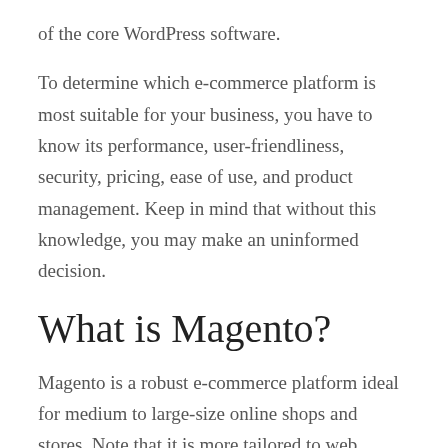of the core WordPress software.
To determine which e-commerce platform is most suitable for your business, you have to know its performance, user-friendliness, security, pricing, ease of use, and product management. Keep in mind that without this knowledge, you may make an uninformed decision.
What is Magento?
Magento is a robust e-commerce platform ideal for medium to large-size online shops and stores. Note that it is more tailored to web development professionals. Magento